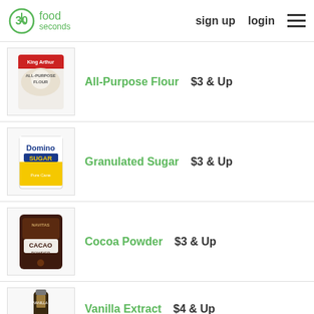30 seconds food | sign up | login
All-Purpose Flour  $3 & Up
Granulated Sugar  $3 & Up
Cocoa Powder  $3 & Up
Vanilla Extract  $4 & Up